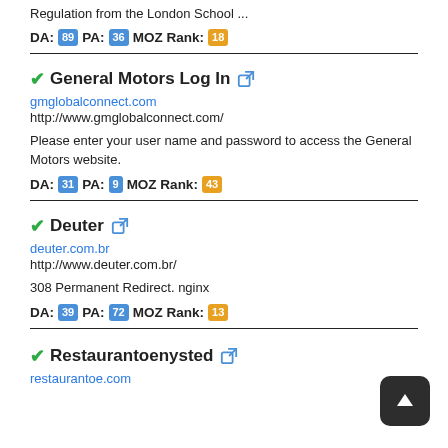Regulation from the London School ...
DA: 89 PA: 36 MOZ Rank: 18
✔General Motors Log In
gmglobalconnect.com
http://www.gmglobalconnect.com/
Please enter your user name and password to access the General Motors website.
DA: 31 PA: 9 MOZ Rank: 43
✔Deuter
deuter.com.br
http://www.deuter.com.br/
308 Permanent Redirect. nginx
DA: 39 PA: 72 MOZ Rank: 13
✔Restaurantoenysted
restaurantoe.com